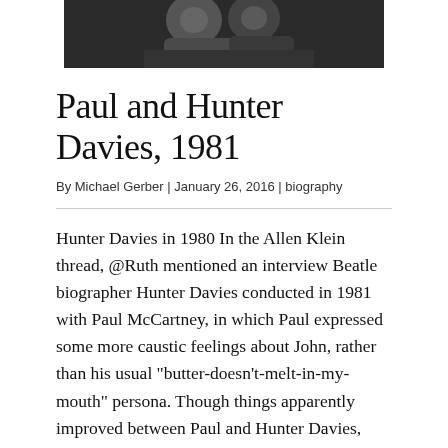[Figure (photo): Black and white photograph of two people, cropped at top of page]
Paul and Hunter Davies, 1981
By Michael Gerber | January 26, 2016 | biography
Hunter Davies in 1980 In the Allen Klein thread, @Ruth mentioned an interview Beatle biographer Hunter Davies conducted in 1981 with Paul McCartney, in which Paul expressed some more caustic feelings about John, rather than his usual "butter-doesn't-melt-in-my-mouth" persona. Though things apparently improved between Paul and Hunter Davies, McCartney was apparently pretty